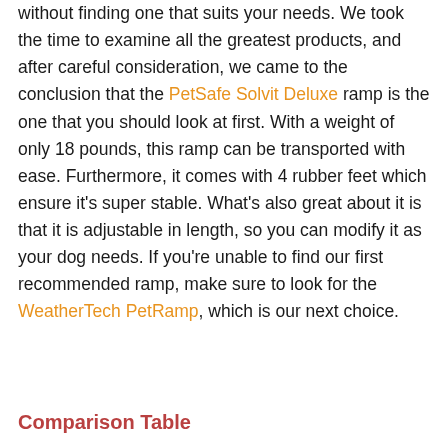without finding one that suits your needs. We took the time to examine all the greatest products, and after careful consideration, we came to the conclusion that the PetSafe Solvit Deluxe ramp is the one that you should look at first. With a weight of only 18 pounds, this ramp can be transported with ease. Furthermore, it comes with 4 rubber feet which ensure it's super stable. What's also great about it is that it is adjustable in length, so you can modify it as your dog needs. If you're unable to find our first recommended ramp, make sure to look for the WeatherTech PetRamp, which is our next choice.
Comparison Table